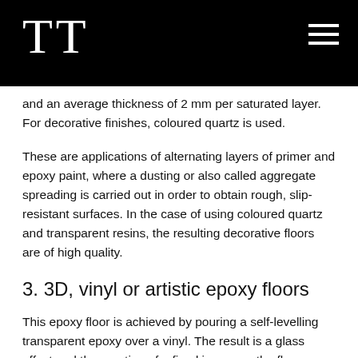TT
and an average thickness of 2 mm per saturated layer. For decorative finishes, coloured quartz is used.
These are applications of alternating layers of primer and epoxy paint, where a dusting or also called aggregate spreading is carried out in order to obtain rough, slip-resistant surfaces. In the case of using coloured quartz and transparent resins, the resulting decorative floors are of high quality.
3. 3D, vinyl or artistic epoxy floors
This epoxy floor is achieved by pouring a self-levelling transparent epoxy over a vinyl. The result is a glass effect and the creation of a fixed image on the floor, which is fully protected by a layer of epoxy glass.
4. Epoxy micro concrete